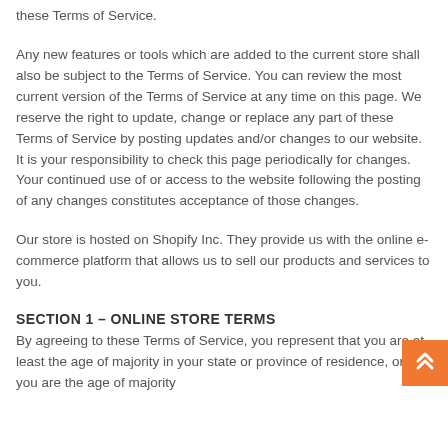these Terms of Service.
Any new features or tools which are added to the current store shall also be subject to the Terms of Service. You can review the most current version of the Terms of Service at any time on this page. We reserve the right to update, change or replace any part of these Terms of Service by posting updates and/or changes to our website. It is your responsibility to check this page periodically for changes. Your continued use of or access to the website following the posting of any changes constitutes acceptance of those changes.
Our store is hosted on Shopify Inc. They provide us with the online e-commerce platform that allows us to sell our products and services to you.
SECTION 1 – ONLINE STORE TERMS
By agreeing to these Terms of Service, you represent that you are at least the age of majority in your state or province of residence, or that you are the age of majority